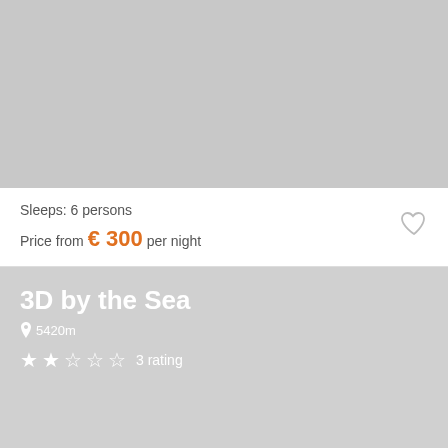[Figure (photo): Gray placeholder image area for a property listing photo]
Sleeps: 6 persons
Price from € 300 per night
3D by the Sea
5420m
3 rating
Direct-croatia.com uses cookies in order to enhance user experience and site functionality. Click here for more details about cookies. Click here for the General Terms of Use
By continuing you accept the General Terms of Use and the use of cookies.
Okay
▼ Filter results